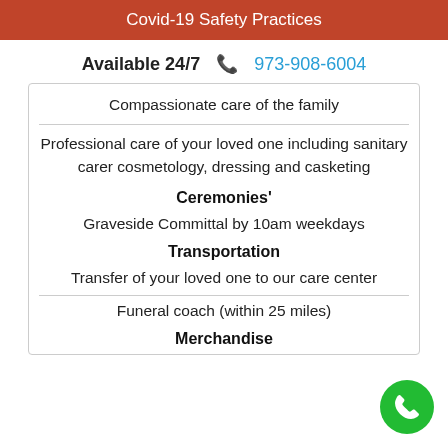Covid-19 Safety Practices
Available 24/7   📞 973-908-6004
Compassionate care of the family
Professional care of your loved one including sanitary carer cosmetology, dressing and casketing
Ceremonies'
Graveside Committal by 10am weekdays
Transportation
Transfer of your loved one to our care center
Funeral coach (within 25 miles)
Merchandise